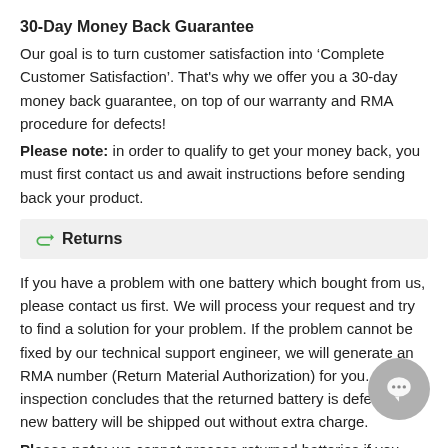30-Day Money Back Guarantee
Our goal is to turn customer satisfaction into ‘Complete Customer Satisfaction’. That's why we offer you a 30-day money back guarantee, on top of our warranty and RMA procedure for defects!
Please note: in order to qualify to get your money back, you must first contact us and await instructions before sending back your product.
Returns
If you have a problem with one battery which bought from us, please contact us first. We will process your request and try to find a solution for your problem. If the problem cannot be fixed by our technical support engineer, we will generate an RMA number (Return Material Authorization) for you. If inspection concludes that the returned battery is defective, a new battery will be shipped out without extra charge.
Please note: we cannot process returned batteries if you